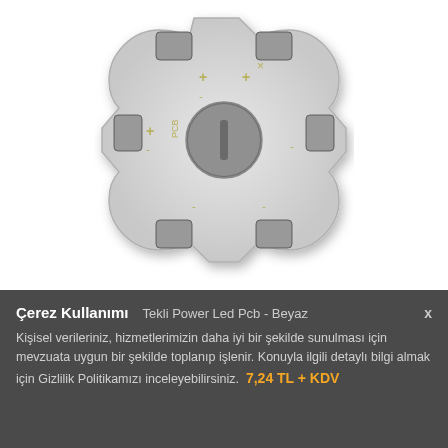[Figure (photo): A star-shaped white PCB (Printed Circuit Board) for a single power LED, viewed from above. The board has a cross/star shape with notched arms and solder pads at each arm tip, labeled with + and - polarity markings. A circular central pad is visible. The PCB label reads 'PCB' on the board.]
Çerez Kullanımı
Tekli Power Led Pcb - Beyaz
Kişisel verileriniz, hizmetlerimizin daha iyi bir şekilde sunulması için mevzuata uygun bir şekilde toplanıp işlenir. Konuyla ilgili detaylı bilgi almak için Gizlilik Politikamızı inceleyebilirsiniz. 7,24 TL + KDV